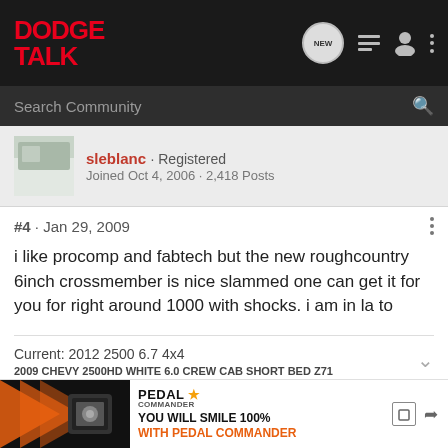DODGE TALK
Search Community
sleblanc · Registered
Joined Oct 4, 2006 · 2,418 Posts
#4 · Jan 29, 2009
i like procomp and fabtech but the new roughcountry 6inch crossmember is nice slammed one can get it for you for right around 1000 with shocks. i am in la to
Current: 2012 2500 6.7 4x4
2009 CHEVY 2500HD WHITE 6.0 CREW CAB SHORT BED Z71
[Figure (screenshot): Pedal Commander advertisement banner with orange arrow graphic and text YOU WILL SMILE 100% WITH PEDAL COMMANDER]